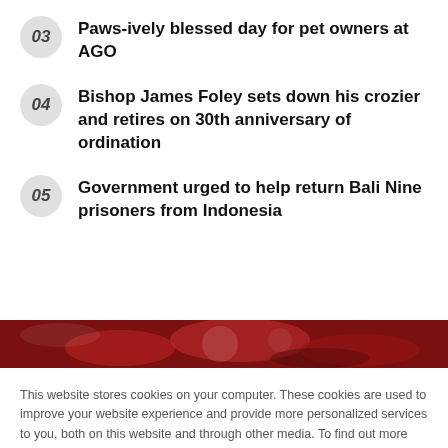03  Paws-ively blessed day for pet owners at AGO
04  Bishop James Foley sets down his crozier and retires on 30th anniversary of ordination
05  Government urged to help return Bali Nine prisoners from Indonesia
[Figure (photo): Dark red/maroon image strip, partially visible, appears to show food or abstract subject]
This website stores cookies on your computer. These cookies are used to improve your website experience and provide more personalized services to you, both on this website and through other media. To find out more about the cookies we use, see our Privacy Policy.

If you decline, your information won't be tracked when you visit this website. A single cookie will be used in your browser to remember your preference not to be tracked.
Accept  Decline